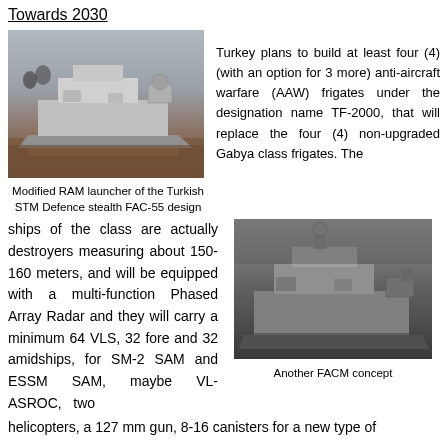Towards 2030
[Figure (photo): Photo of a ship model — Modified RAM launcher of the Turkish STM Defence stealth FAC-55 design]
Modified RAM launcher of the Turkish STM Defence stealth FAC-55 design
Turkey plans to build at least four (4) (with an option for 3 more) anti-aircraft warfare (AAW) frigates under the designation name TF-2000, that will replace the four (4) non-upgraded Gabya class frigates. The
ships of the class are actually destroyers measuring about 150-160 meters, and will be equipped with a multi-function Phased Array Radar and they will carry a minimum 64 VLS, 32 fore and 32 amidships, for SM-2 SAM and ESSM SAM, maybe VL-ASROC, two helicopters, a 127 mm gun, 8-16 canisters for a new type of
[Figure (photo): Another FACM concept — photo of a ship model in dark/grey tones]
Another FACM concept